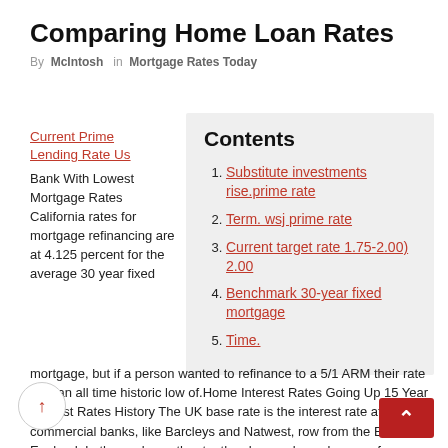Comparing Home Loan Rates
By McIntosh in Mortgage Rates Today
Current Prime Lending Rate Us Bank With Lowest Mortgage Rates California rates for mortgage refinancing are at 4.125 percent for the average 30 year fixed
| Contents |
| --- |
| Substitute investments rise.prime rate |
| Term. wsj prime rate |
| Current target rate 1.75-2.00) 2.00 |
| Benchmark 30-year fixed mortgage |
| Time. |
mortgage, but if a person wanted to refinance to a 5/1 ARM their rate is at an all time historic low of.Home Interest Rates Going Up 15 Year Interest Rates History The UK base rate is the interest rate at which commercial banks, like Barcleys and Natwest, row from the Bank of England. In theory, lower th rate, the cheaper loans become for borrowers, because